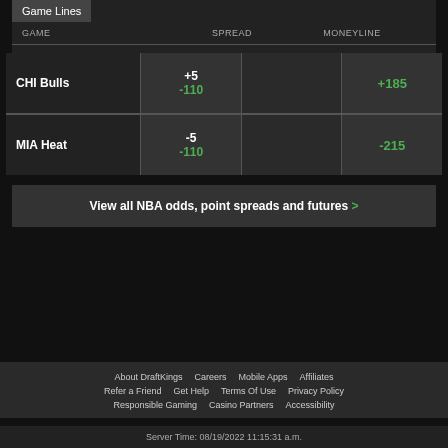Game Lines
| GAME | SPREAD |  | MONEYLINE |
| --- | --- | --- | --- |
| CHI Bulls | +5
-110 |  | +185 |
| MIA Heat | -5
-110 |  | -215 |
View all NBA odds, point spreads and futures >
About DraftKings  Careers  Mobile Apps  Affiliates  Refer a Friend  Get Help  Terms Of Use  Privacy Policy  Responsible Gaming  Casino Partners  Accessibility
Server Time: 08/19/2022 11:15:31 a.m.